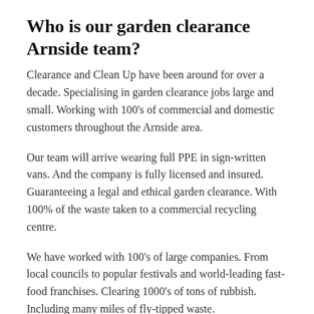Who is our garden clearance Arnside team?
Clearance and Clean Up have been around for over a decade. Specialising in garden clearance jobs large and small. Working with 100's of commercial and domestic customers throughout the Arnside area.
Our team will arrive wearing full PPE in sign-written vans. And the company is fully licensed and insured. Guaranteeing a legal and ethical garden clearance. With 100% of the waste taken to a commercial recycling centre.
We have worked with 100's of large companies. From local councils to popular festivals and world-leading fast-food franchises. Clearing 1000's of tons of rubbish. Including many miles of fly-tipped waste.